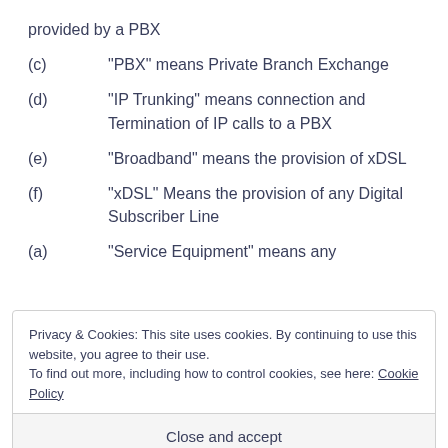provided by a PBX
(c) “PBX” means Private Branch Exchange
(d) “IP Trunking” means connection and Termination of IP calls to a PBX
(e) “Broadband” means the provision of xDSL
(f) “xDSL” Means the provision of any Digital Subscriber Line
(a) “Service Equipment” means any
Privacy & Cookies: This site uses cookies. By continuing to use this website, you agree to their use. To find out more, including how to control cookies, see here: Cookie Policy
Close and accept
Equipment we may from time to time install at your